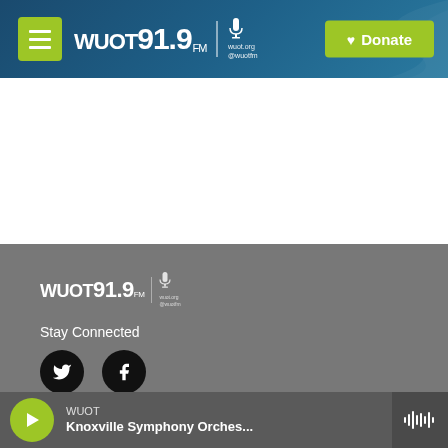WUOT 91.9 FM | wuot.org @wuotfm | Donate
[Figure (screenshot): White content area, blank]
[Figure (logo): WUOT 91.9 FM footer logo with microphone icon]
Stay Connected
[Figure (illustration): Twitter and Facebook social media icons (black circles with white bird and f logos)]
© 2022 WUOT
About Us
WUOT — Knoxville Symphony Orches...